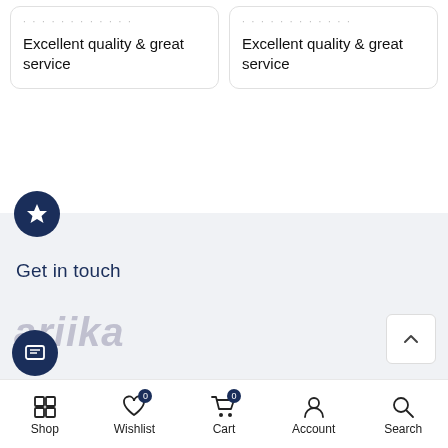Excellent quality & great service
Excellent quality & great service
Get in touch
[Figure (logo): ariika brand logo in light gray italic text]
Shop | Wishlist (0) | Cart (0) | Account | Search